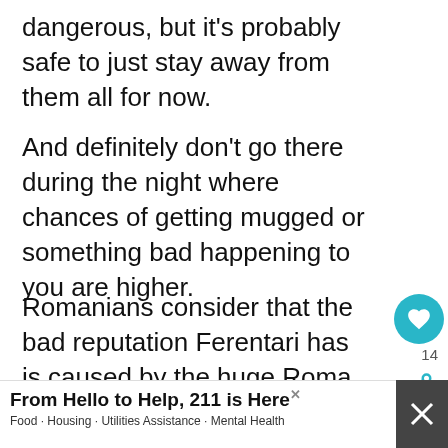dangerous, but it's probably safe to just stay away from them all for now.
And definitely don't go there during the night where chances of getting mugged or something bad happening to you are higher.
Romanians consider that the bad reputation Ferentari has is caused by the huge Roma population living there, but I personally don't want this article to go that direction and start racial debates.
[Figure (infographic): Advertisement banner: From Hello to Help, 211 is Here. Food · Housing · Utilities Assistance · Mental Health]
Th... there